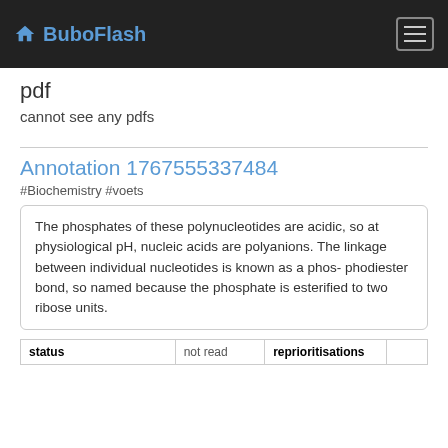BuboFlash
pdf
cannot see any pdfs
Annotation 1767555337484
#Biochemistry #voets
The phosphates of these polynucleotides are acidic, so at physiological pH, nucleic acids are polyanions. The linkage between individual nucleotides is known as a phos- phodiester bond, so named because the phosphate is esterified to two ribose units.
| status | not read | reprioritisations |  |
| --- | --- | --- | --- |